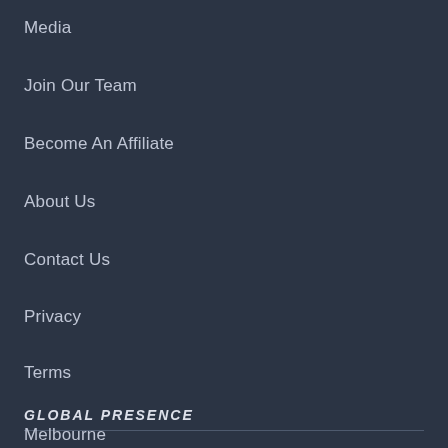Media
Join Our Team
Become An Affiliate
About Us
Contact Us
Privacy
Terms
GLOBAL PRESENCE
Melbourne